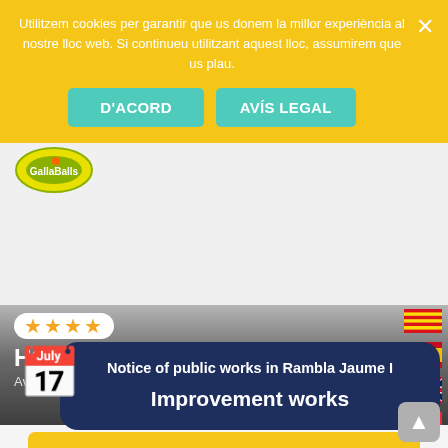Utilitzem cookies per garantir que us donem la millor experiència al nostre lloc web. Si continueu utilitzant aquest lloc, assumirem que us plau.
D'ACORD
AVÍS LEGAL
[Figure (logo): El Gallaballs logo - circular green and yellow logo]
★ ★ ★ ★
HOTEL MAS GALLAU
Av. Vilafortuny, 134, 43850 Cambrils, Tarragona, España
[Figure (other): Catalan flag]
[Figure (other): Spanish flag]
[Figure (other): UK flag]
[Figure (other): French flag]
VIEW ON MAP
On' ... es ... from the beach of Cambrils, Ho ... comfortable room ... ne ... ace
Notice of public works in Rambla Jaume I
Improvement works